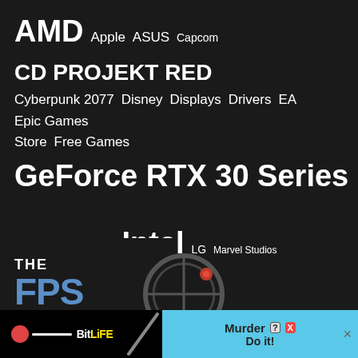[Figure (infographic): Tag cloud on dark background featuring technology and gaming brands. Terms include AMD, Apple, ASUS, Capcom, CD PROJEKT RED, Cyberpunk 2077, Disney, Displays, Drivers, EA, Epic Games Store, Free Games, GeForce RTX 30 Series, GIGABYTE, Google, Intel, LG, Marvel Studios, Microsoft, Monitors, Motherboards, MSI, Netflix, Nintendo, NVIDIA, OLED, PlayStation, PlayStation 4, PlayStation 5, Press Releases, Radeon, Radeon RX 6000 Series, Ryzen, Samsung, Sony, Square Enix, Star Wars, Steam, Ubisoft, Valve, Warner Bros., Xbox, Xbox Game Pass, Xbox Series S, Xbox Series X]
[Figure (logo): THE FPS website logo — 'THE' in white small caps above large blue 'FPS' letters with a circular graphic element]
[Figure (other): BitLife mobile game advertisement banner — black left side with BitLife logo, cyan right side with 'Murder Do it!' text and knife graphic, close X button]